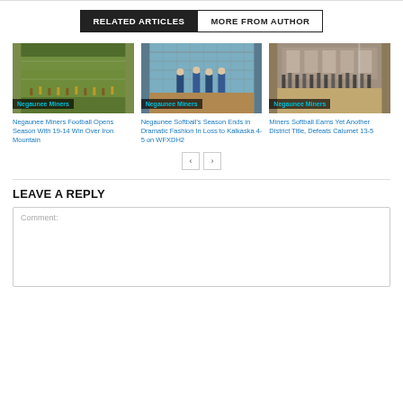RELATED ARTICLES | MORE FROM AUTHOR
[Figure (photo): Negaunee Miners football game aerial view of players on field with tag 'Negaunee Miners']
Negaunee Miners Football Opens Season With 19-14 Win Over Iron Mountain
[Figure (photo): Negaunee Softball players near chain-link fence with tag 'Negaunee Miners']
Negaunee Softball's Season Ends in Dramatic Fashion In Loss to Kalkaska 4-5 on WFXDH2
[Figure (photo): Miners Softball players on field with tag 'Negaunee Miners']
Miners Softball Earns Yet Another District Title, Defeats Calumet 13-5
LEAVE A REPLY
Comment: